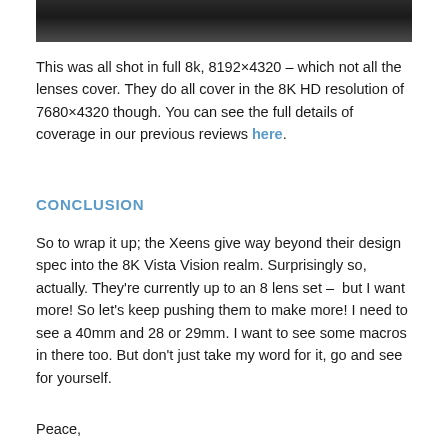[Figure (photo): Dark/black photographic image strip at top of page showing a dark landscape or surface]
This was all shot in full 8k, 8192×4320 – which not all the lenses cover. They do all cover in the 8K HD resolution of 7680×4320 though. You can see the full details of coverage in our previous reviews here.
CONCLUSION
So to wrap it up; the Xeens give way beyond their design spec into the 8K Vista Vision realm. Surprisingly so, actually. They're currently up to an 8 lens set –  but I want more! So let's keep pushing them to make more! I need to see a 40mm and 28 or 29mm. I want to see some macros in there too. But don't just take my word for it, go and see for yourself.
Peace,